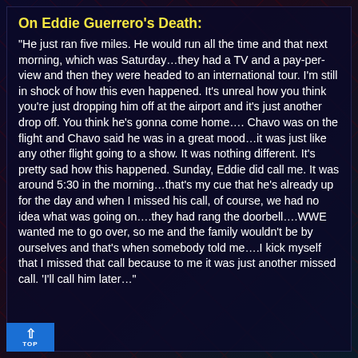On Eddie Guerrero's Death:
"He just ran five miles. He would run all the time and that next morning, which was Saturday…they had a TV and a pay-per-view and then they were headed to an international tour. I'm still in shock of how this even happened. It's unreal how you think you're just dropping him off at the airport and it's just another drop off. You think he's gonna come home…. Chavo was on the flight and Chavo said he was in a great mood…it was just like any other flight going to a show. It was nothing different. It's pretty sad how this happened. Sunday, Eddie did call me. It was around 5:30 in the morning…that's my cue that he's already up for the day and when I missed his call, of course, we had no idea what was going on….they had rang the doorbell….WWE wanted me to go over, so me and the family wouldn't be by ourselves and that's when somebody told me….I kick myself that I missed that call because to me it was just another missed call. 'I'll call him later…"